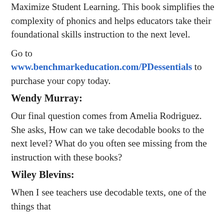Maximize Student Learning. This book simplifies the complexity of phonics and helps educators take their foundational skills instruction to the next level.
Go to www.benchmarkeducation.com/PDessentials to purchase your copy today.
Wendy Murray:
Our final question comes from Amelia Rodriguez. She asks, How can we take decodable books to the next level? What do you often see missing from the instruction with these books?
Wiley Blevins:
When I see teachers use decodable texts, one of the things that...